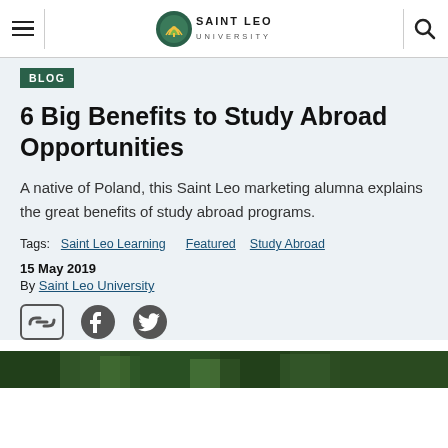Saint Leo University — Blog
BLOG
6 Big Benefits to Study Abroad Opportunities
A native of Poland, this Saint Leo marketing alumna explains the great benefits of study abroad programs.
Tags: Saint Leo Learning  Featured  Study Abroad
15 May 2019
By Saint Leo University
[Figure (infographic): Social sharing icons: link/chain icon, Facebook icon, Twitter icon]
[Figure (photo): Partial bottom photo strip showing outdoor greenery scene]